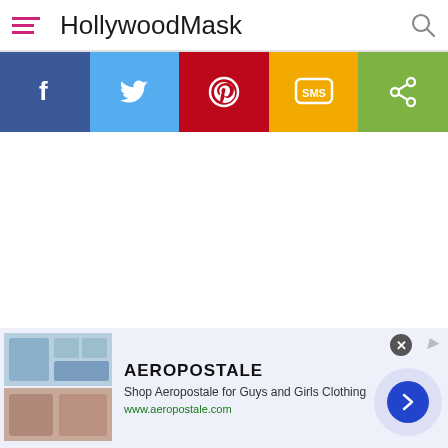HollywoodMask
[Figure (infographic): Social sharing bar with five colored buttons: Facebook (blue), Twitter (light blue), Pinterest (red), SMS (yellow/orange), Share (green)]
[Figure (infographic): Advertisement for Aeropostale showing clothing images, brand name, description 'Shop Aeropostale for Guys and Girls Clothing', URL www.aeropostale.com, and a next arrow button]